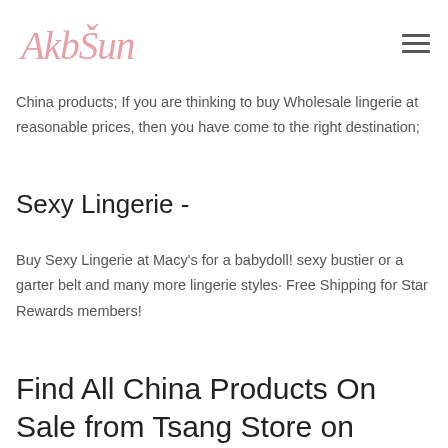AkbSun [logo]
China products; If you are thinking to buy Wholesale lingerie at reasonable prices, then you have come to the right destination;
Sexy Lingerie -
Buy Sexy Lingerie at Macy's for a babydoll! sexy bustier or a garter belt and many more lingerie styles· Free Shipping for Star Rewards members!
Find All China Products On Sale from Tsang Store on